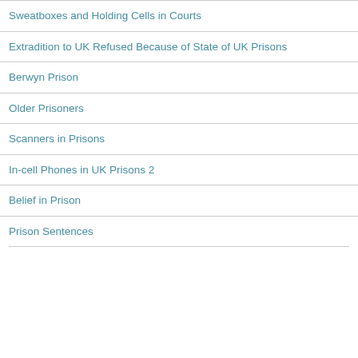Sweatboxes and Holding Cells in Courts
Extradition to UK Refused Because of State of UK Prisons
Berwyn Prison
Older Prisoners
Scanners in Prisons
In-cell Phones in UK Prisons 2
Belief in Prison
Prison Sentences